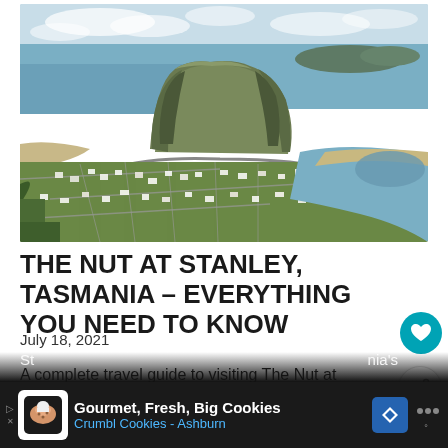[Figure (photo): Aerial view of Stanley, Tasmania, showing The Nut (a large volcanic plug/hill) rising from the ocean, with the town and beach visible below and ocean/bay on both sides]
THE NUT AT STANLEY, TASMANIA – EVERYTHING YOU NEED TO KNOW
July 18, 2021
A complete travel guide to visiting The Nut at Stanley, one of Tasmania's
[Figure (screenshot): Advertisement banner at bottom of page: Gourmet, Fresh, Big Cookies — Crumbl Cookies - Ashburn]